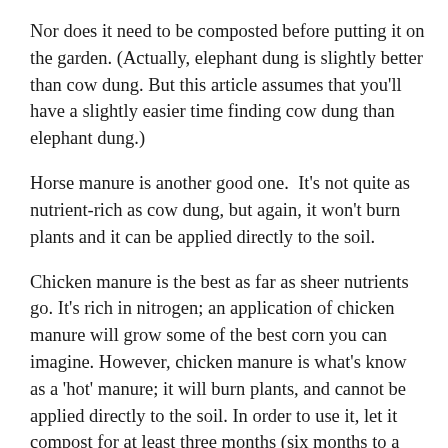Nor does it need to be composted before putting it on the garden. (Actually, elephant dung is slightly better than cow dung. But this article assumes that you'll have a slightly easier time finding cow dung than elephant dung.)
Horse manure is another good one.  It's not quite as nutrient-rich as cow dung, but again, it won't burn plants and it can be applied directly to the soil.
Chicken manure is the best as far as sheer nutrients go. It's rich in nitrogen; an application of chicken manure will grow some of the best corn you can imagine. However, chicken manure is what's know as a 'hot' manure; it will burn plants, and cannot be applied directly to the soil. In order to use it, let it compost for at least three months (six months to a year is better) in an out-of-the-way corner of the garden, then apply it sparingly to your unplanted beds and wait at least two weeks and one good rain before